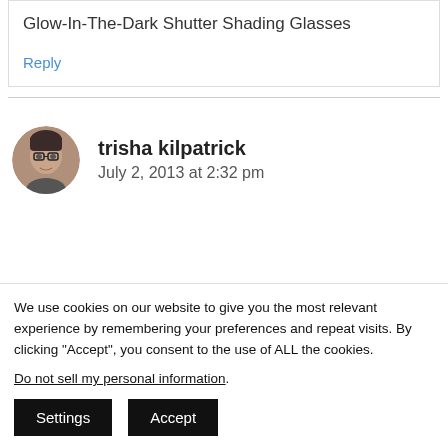Glow-In-The-Dark Shutter Shading Glasses
Reply
trisha kilpatrick
July 2, 2013 at 2:32 pm
We use cookies on our website to give you the most relevant experience by remembering your preferences and repeat visits. By clicking “Accept”, you consent to the use of ALL the cookies.
Do not sell my personal information.
Settings
Accept